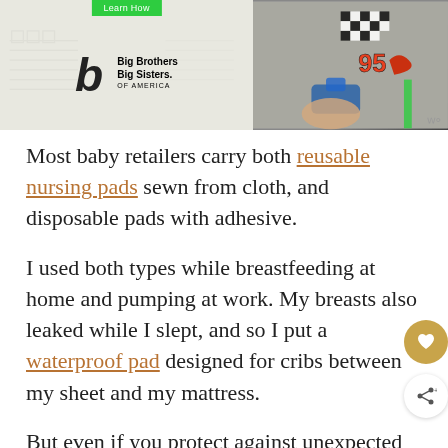[Figure (photo): Advertisement banner for Big Brothers Big Sisters of America with a Learn How button, the organization logo on a patterned background, and a photo of a child in a racing t-shirt numbered 95.]
Most baby retailers carry both reusable nursing pads sewn from cloth, and disposable pads with adhesive.
I used both types while breastfeeding at home and pumping at work. My breasts also leaked while I slept, and so I put a waterproof pad designed for cribs between my sheet and my mattress.
But even if you protect against unexpected leaks, you have milk-soaked cloths of some kind to wash.